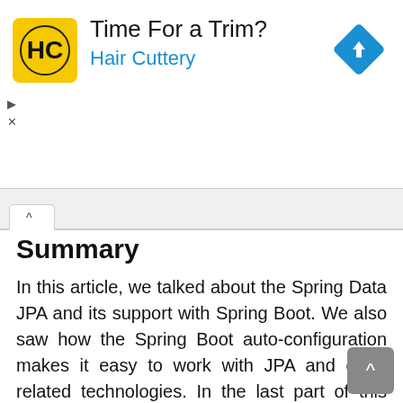[Figure (screenshot): Advertisement banner for Hair Cuttery with yellow logo, text 'Time For a Trim?' and 'Hair Cuttery' in blue, and a blue navigation arrow icon on the right.]
Summary
In this article, we talked about the Spring Data JPA and its support with Spring Boot. We also saw how the Spring Boot auto-configuration makes it easy to work with JPA and other related technologies. In the last part of this article, we talked about how to customized / override the default configuration available through Spring Boot JPA. We briefly talked about the JPA architecture at the end of this article.